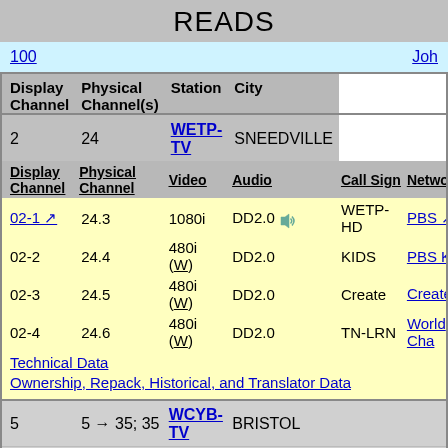READS
100   Joh
| Display Channel | Physical Channel(s) | Station | City |
| --- | --- | --- | --- |
| 2 | 24 | WETP-TV | SNEEDVILLE |
| Display Channel | Physical Channel | Video | Audio | Call Sign | Network/P |
| 02-1 | 24.3 | 1080i | DD2.0 | WETP-HD | PBS |
| 02-2 | 24.4 | 480i (W) | DD2.0 | KIDS | PBS Kids |
| 02-3 | 24.5 | 480i (W) | DD2.0 | Create | Create |
| 02-4 | 24.6 | 480i (W) | DD2.0 | TN-LRN | World Cha |
| Technical Data |  |  |  |  |  |
| Ownership, Repack, Historical, and Translator Data |  |  |  |  |  |
| 5 | 5 → 35; 35 | WCYB-TV | BRISTOL |  |  |
| 11 | 9 | WJHL-TV | JOHNSON CITY |  |  |
| 19 | 32 | WKPT-TV | KINGSPORT |  |  |
| 1? | 11 | WCPL-CD | BRISTOL, VA / KINGSPORT |  |  |